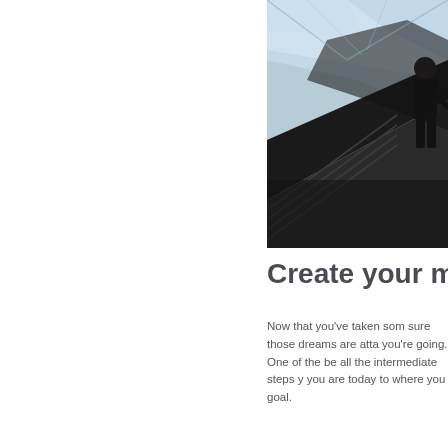[Figure (photo): A businessman in a dark suit standing on an escalator inside a modern glass building, viewed from below at an angle. The glass facade and steel structure are visible in the background.]
Create your ma
Now that you've taken som sure those dreams are atta you're going. One of the be all the intermediate steps y you are today to where you goal.